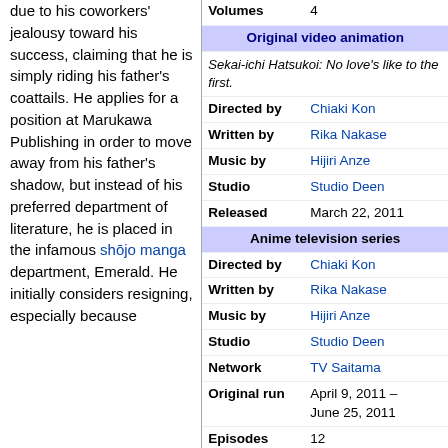due to his coworkers' jealousy toward his success, claiming that he is simply riding his father's coattails. He applies for a position at Marukawa Publishing in order to move away from his father's shadow, but instead of his preferred department of literature, he is placed in the infamous shōjo manga department, Emerald. He initially considers resigning, especially because
| Volumes | 4 |
| Original video animation |  |
| Sekai-ichi Hatsukoi: No love's like to the first. |  |
| Directed by | Chiaki Kon |
| Written by | Rika Nakase |
| Music by | Hijiri Anze |
| Studio | Studio Deen |
| Released | March 22, 2011 |
| Anime television series |  |
| Directed by | Chiaki Kon |
| Written by | Rika Nakase |
| Music by | Hijiri Anze |
| Studio | Studio Deen |
| Network | TV Saitama |
| Original run | April 9, 2011 – June 25, 2011 |
| Episodes | 12 |
| Original video animation |  |
| Sekai-ichi Hatsukoi: Hatori Yoshiyuki no Baai |  |
| Directed by | Chiaki Kon |